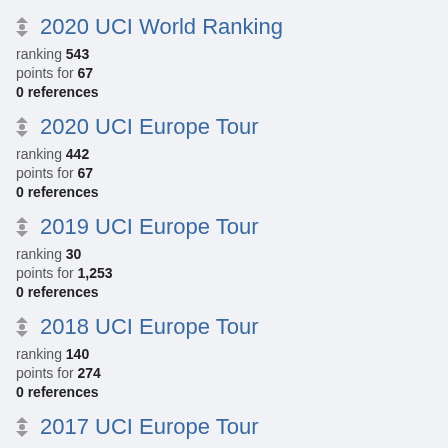2020 UCI World Ranking
ranking 543
points for 67
0 references
2020 UCI Europe Tour
ranking 442
points for 67
0 references
2019 UCI Europe Tour
ranking 30
points for 1,253
0 references
2018 UCI Europe Tour
ranking 140
points for 274
0 references
2017 UCI Europe Tour